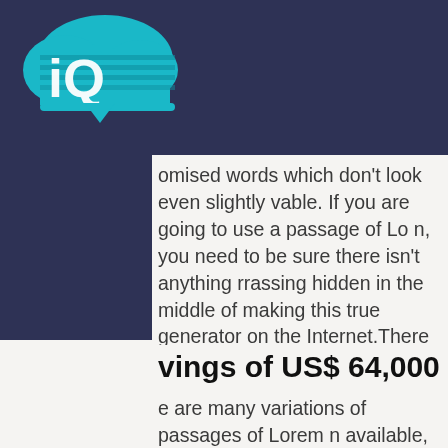[Figure (logo): iQ cloud logo with teal/cyan cloud shape and striped text]
omised words which don't look even slightly vable. If you are going to use a passage of Lo n, you need to be sure there isn't anything rrassing hidden in the middle of making this true generator on the Internet.There are ma tions of passages of Lorem a jority have suff ation.
vings of US$ 64,000
e are many variations of passages of Lorem n available, but the majority have suffered ation in some form, by injected humour, or omised words which don't look even slightly vable. If you are going to use a passage of Lo